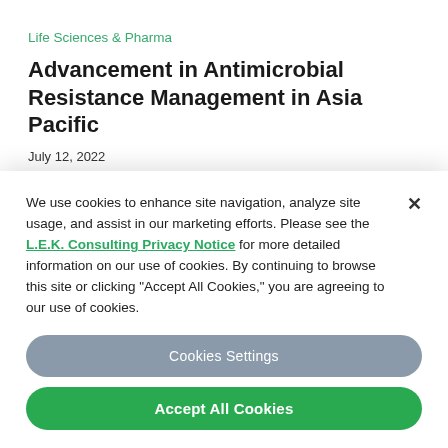Life Sciences & Pharma
Advancement in Antimicrobial Resistance Management in Asia Pacific
July 12, 2022
[Figure (photo): Partial view of laboratory/medical setting with a person visible, with ARTICLE tag to the right]
We use cookies to enhance site navigation, analyze site usage, and assist in our marketing efforts. Please see the L.E.K. Consulting Privacy Notice for more detailed information on our use of cookies. By continuing to browse this site or clicking "Accept All Cookies," you are agreeing to our use of cookies.
Cookies Settings
Accept All Cookies